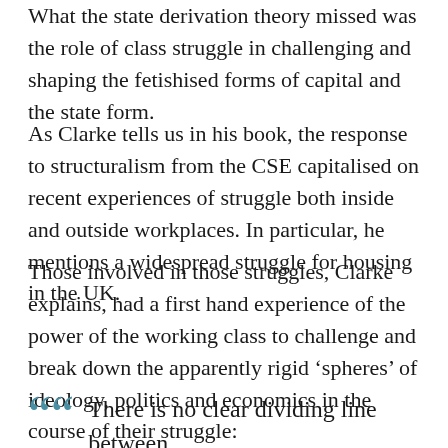What the state derivation theory missed was the role of class struggle in challenging and shaping the fetishised forms of capital and the state form.
As Clarke tells us in his book, the response to structuralism from the CSE capitalised on recent experiences of struggle both inside and outside workplaces. In particular, he mentions a widespread struggle for housing in the UK.
Those involved in those struggles, Clarke explains, had a first hand experience of the power of the working class to challenge and break down the apparently rigid ‘spheres’ of ideology, politics and economics in the course of their struggle:
““ There is no clear dividing line between